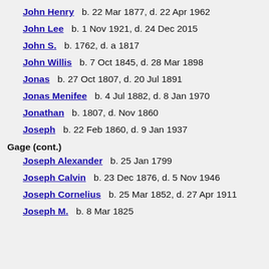John Henry   b. 22 Mar 1877, d. 22 Apr 1962
John Lee   b. 1 Nov 1921, d. 24 Dec 2015
John S.   b. 1762, d. a 1817
John Willis   b. 7 Oct 1845, d. 28 Mar 1898
Jonas   b. 27 Oct 1807, d. 20 Jul 1891
Jonas Menifee   b. 4 Jul 1882, d. 8 Jan 1970
Jonathan   b. 1807, d. Nov 1860
Joseph   b. 22 Feb 1860, d. 9 Jan 1937
Gage (cont.)
Joseph Alexander   b. 25 Jan 1799
Joseph Calvin   b. 23 Dec 1876, d. 5 Nov 1946
Joseph Cornelius   b. 25 Mar 1852, d. 27 Apr 1911
Joseph M.   b. 8 Mar 1825